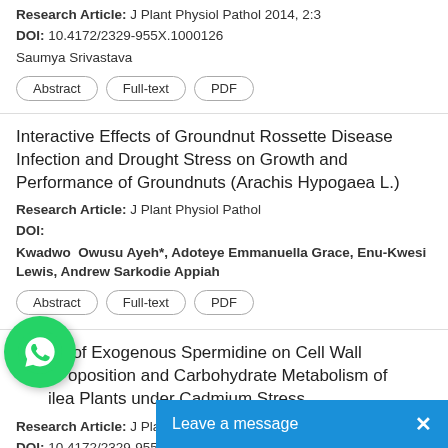Research Article: J Plant Physiol Pathol 2014, 2:3
DOI: 10.4172/2329-955X.1000126
Saumya Srivastava
Abstract | Full-text | PDF
Interactive Effects of Groundnut Rossette Disease Infection and Drought Stress on Growth and Performance of Groundnuts (Arachis Hypogaea L.)
Research Article: J Plant Physiol Pathol
DOI:
Kwadwo Owusu Ayeh*, Adoteye Emmanuella Grace, Enu-Kwesi Lewis, Andrew Sarkodie Appiah
Abstract | Full-text | PDF
Effects of Exogenous Spermidine on Cell Wall Composition and Carbohydrate Metabolism of Calea Plants under Cadmium Stress
Research Article: J Plant Physiol P...
DOI: 10.4172/2329-955X.100127...